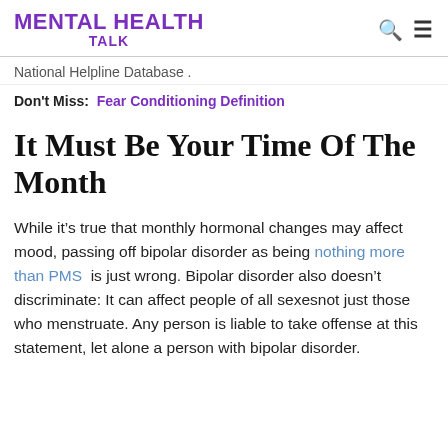MENTAL HEALTH TALK
National Helpline Database .
Don't Miss: Fear Conditioning Definition
It Must Be Your Time Of The Month
While it’s true that monthly hormonal changes may affect mood, passing off bipolar disorder as being nothing more than PMS is just wrong. Bipolar disorder also doesn’t discriminate: It can affect people of all sexesnot just those who menstruate. Any person is liable to take offense at this statement, let alone a person with bipolar disorder.